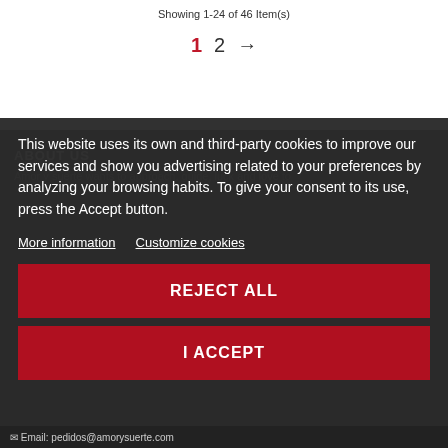Showing 1-24 of 46 Item(s)
1  2  →
ABOUT US
Amor y suerte wants to approach, guide, luck and love to
This website uses its own and third-party cookies to improve our services and show you advertising related to your preferences by analyzing your browsing habits. To give your consent to its use, press the Accept button.
More information  Customize cookies
REJECT ALL
I ACCEPT
Email: pedidos@amorysuerte.com